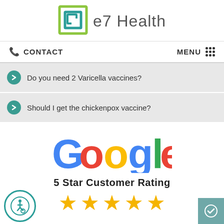[Figure (logo): e7 Health logo with square icon and text]
CONTACT   MENU
Do you need 2 Varicella vaccines?
Should I get the chickenpox vaccine?
[Figure (logo): Google logo in multicolor letters]
5 Star Customer Rating
[Figure (other): Five gold stars rating]